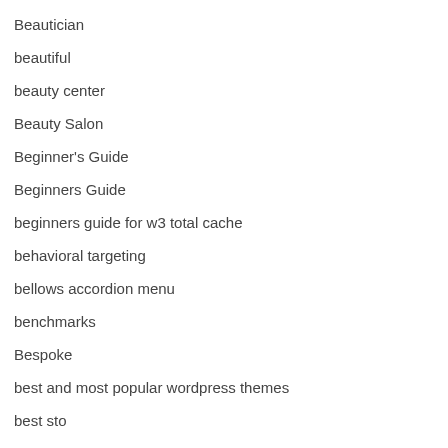Beautician
beautiful
beauty center
Beauty Salon
Beginner's Guide
Beginners Guide
beginners guide for w3 total cache
behavioral targeting
bellows accordion menu
benchmarks
Bespoke
best and most popular wordpress themes
best sto...